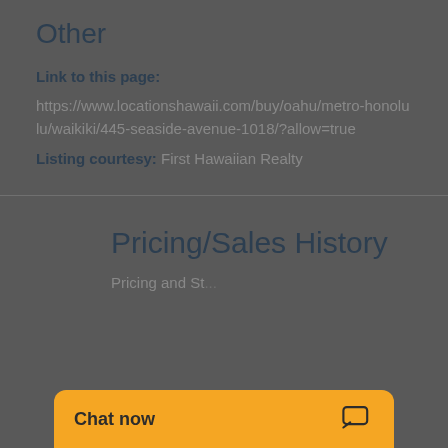Other
Link to this page:
https://www.locationshawaii.com/buy/oahu/metro-honolulu/waikiki/445-seaside-avenue-1018/?allow=true
Listing courtesy: First Hawaiian Realty
Pricing/Sales History
Pricing and St...